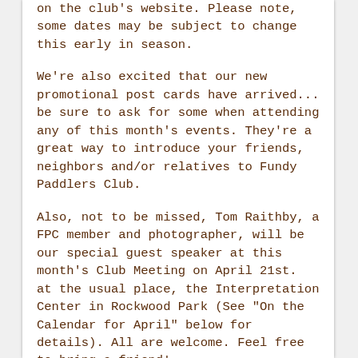on the club's website. Please note, some dates may be subject to change this early in season.
We're also excited that our new promotional post cards have arrived... be sure to ask for some when attending any of this month's events. They're a great way to introduce your friends, neighbors and/or relatives to Fundy Paddlers Club.
Also, not to be missed, Tom Raithby, a FPC member and photographer, will be our special guest speaker at this month's Club Meeting on April 21st.  at the usual place, the Interpretation Center in Rockwood Park (See "On the Calendar for April" below for details). All are welcome. Feel free to bring a friend!
I mentioned only a few things happening this month so